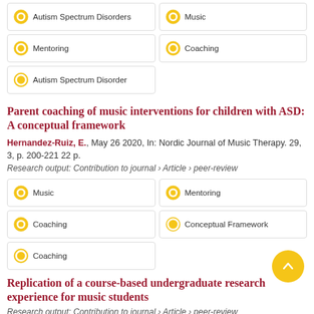Autism Spectrum Disorders
Music
Mentoring
Coaching
Autism Spectrum Disorder
Parent coaching of music interventions for children with ASD: A conceptual framework
Hernandez-Ruiz, E., May 26 2020, In: Nordic Journal of Music Therapy. 29, 3, p. 200-221 22 p.
Research output: Contribution to journal › Article › peer-review
Music
Mentoring
Coaching
Conceptual Framework
Coaching
Replication of a course-based undergraduate research experience for music students
Research output: Contribution to journal › Article › peer-review